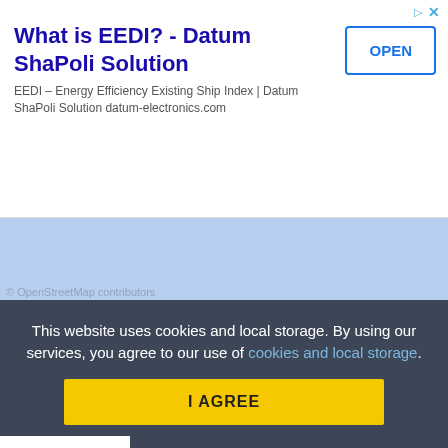What is EEDI? - Datum ShaPoli Solution
EEDI – Energy Efficiency Existing Ship Index | Datum ShaPoli Solution datum-electronics.com
[Figure (map): Light blue map area placeholder with collapse/accordion tab at top-left showing an upward chevron arrow]
This website uses cookies and local storage. By using our services, you agree to our use of cookies and local storage.
I AGREE